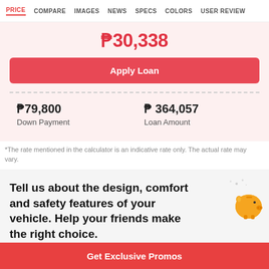PRICE | COMPARE | IMAGES | NEWS | SPECS | COLORS | USER REVIEW
₱30,338
Apply Loan
₱79,800 Down Payment
₱364,057 Loan Amount
*The rate mentioned in the calculator is an indicative rate only. The actual rate may vary.
Tell us about the design, comfort and safety features of your vehicle. Help your friends make the right choice.
Get Exclusive Promos